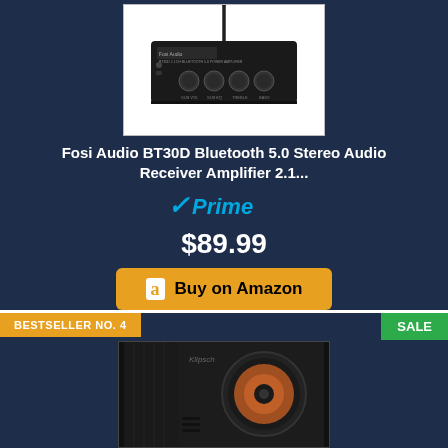[Figure (photo): Fosi Audio BT30D Bluetooth amplifier product photo with antenna]
Fosi Audio BT30D Bluetooth 5.0 Stereo Audio Receiver Amplifier 2.1...
[Figure (logo): Amazon Prime badge with checkmark]
$89.99
Buy on Amazon
BESTSELLER NO. 4
SALE
[Figure (photo): Black speaker/subwoofer product photo]